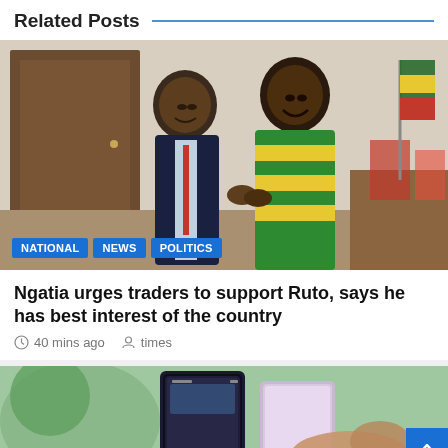Related Posts
[Figure (photo): Two men shaking hands indoors; one in dark suit with red tie, the other in green and yellow striped sweater; Kenyan flag in background]
NATIONAL   NEWS   POLITICS
Ngatia urges traders to support Ruto, says he has best interest of the country
40 mins ago   times
[Figure (photo): Hands holding a foldable smartphone device, close-up shot]